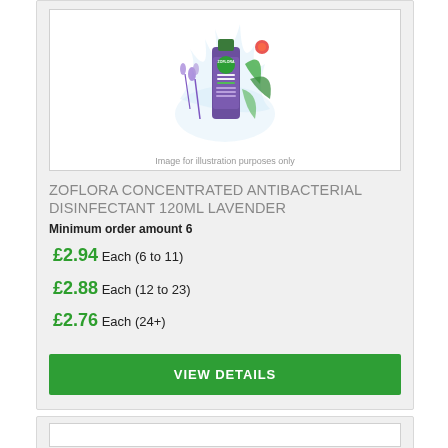[Figure (photo): Zoflora Concentrated Disinfectant Lavender 120ml product bottle with lavender flowers and green leaves, purple label with green cap]
Image for illustration purposes only
ZOFLORA CONCENTRATED ANTIBACTERIAL DISINFECTANT 120ML LAVENDER
Minimum order amount 6
£2.94 Each (6 to 11)
£2.88 Each (12 to 23)
£2.76 Each (24+)
VIEW DETAILS